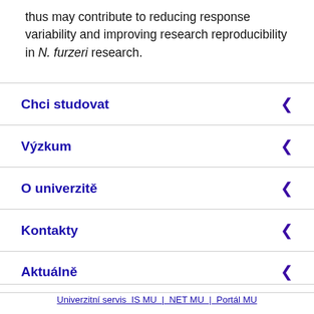thus may contribute to reducing response variability and improving research reproducibility in N. furzeri research.
Chci studovat
Výzkum
O univerzitě
Kontakty
Aktuálně
Univerzitní servis IS MU | NET MU | Portál MU